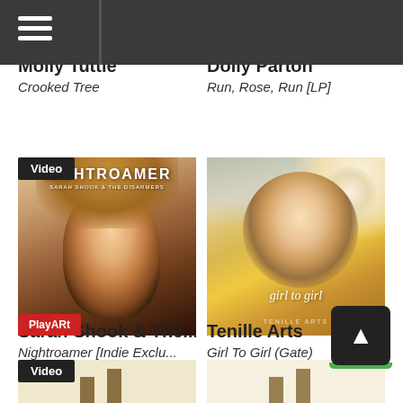Navigation menu bar
Molly Tuttle
Crooked Tree
Dolly Parton
Run, Rose, Run [LP]
[Figure (photo): Album cover for Nightroamer by Sarah Shook & The Disarmers, showing a woman's face with a nose ring, with album title text overlay. Has Video badge and PlayARt badge.]
[Figure (photo): Album cover for Girl To Girl by Tenille Arts, showing a woman among flowers with cursive 'girl to girl' text overlay.]
Sarah Shook & The...
Nightroamer [Indie Exclu...
Tenille Arts
Girl To Girl (Gate)
[Figure (photo): Partially visible album cover at bottom left, with Video badge.]
[Figure (photo): Partially visible album cover at bottom right.]